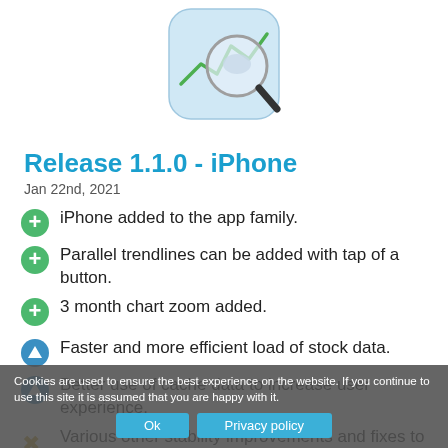[Figure (illustration): App icon showing a stock chart with a magnifying glass, circular icon with light blue background]
Release 1.1.0 - iPhone
Jan 22nd, 2021
iPhone added to the app family.
Parallel trendlines can be added with tap of a button.
3 month chart zoom added.
Faster and more efficient load of stock data.
Better use of cache data to increase user experience.
Various other stability improvements and fixes to increase your experience. Now, go Spot a Stock!
Cookies are used to ensure the best experience on the website. If you continue to use this site it is assumed that you are happy with it.
Ok   Privacy policy